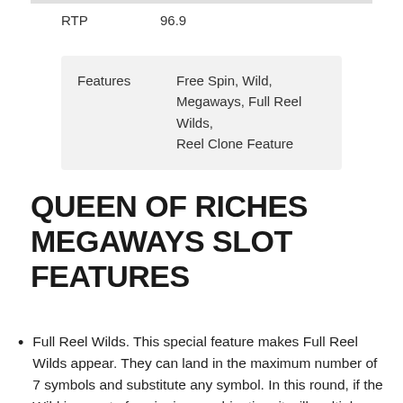|  |  |
| --- | --- |
| RTP | 96.9 |
| Features | Free Spin, Wild, Megaways, Full Reel Wilds, Reel Clone Feature |
QUEEN OF RICHES MEGAWAYS SLOT FEATURES
Full Reel Wilds. This special feature makes Full Reel Wilds appear. They can land in the maximum number of 7 symbols and substitute any symbol. In this round, if the Wild is a part of a winning combination, it will multiply a